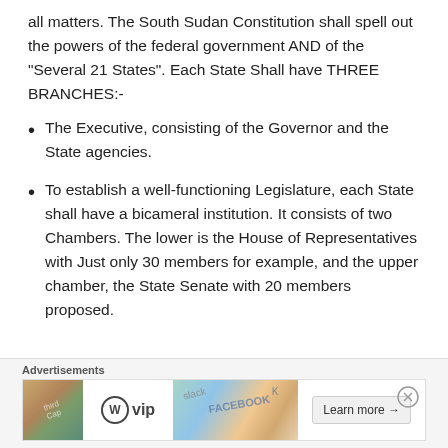all matters. The South Sudan Constitution shall spell out the powers of the federal government AND of the “Several 21 States”. Each State Shall have THREE BRANCHES:-
The Executive, consisting of the Governor and the State agencies.
To establish a well-functioning Legislature, each State shall have a bicameral institution. It consists of two Chambers. The lower is the House of Representatives with Just only 30 members for example, and the upper chamber, the State Senate with 20 members proposed.
[Figure (other): Advertisement banner with WordPress VIP logo, colorful background with social media brand imagery, and Learn more button]